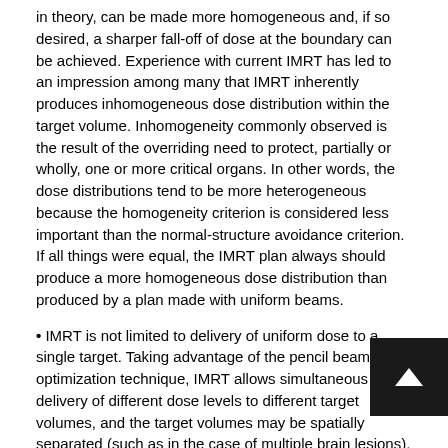in theory, can be made more homogeneous and, if so desired, a sharper fall-off of dose at the boundary can be achieved. Experience with current IMRT has led to an impression among many that IMRT inherently produces inhomogeneous dose distribution within the target volume. Inhomogeneity commonly observed is the result of the overriding need to protect, partially or wholly, one or more critical organs. In other words, the dose distributions tend to be more heterogeneous because the homogeneity criterion is considered less important than the normal-structure avoidance criterion. If all things were equal, the IMRT plan always should produce a more homogeneous dose distribution than produced by a plan made with uniform beams.
IMRT is not limited to delivery of uniform dose to a single target. Taking advantage of the pencil beam optimization technique, IMRT allows simultaneous delivery of different dose levels to different target volumes, and the target volumes may be spatially separated (such as in the case of multiple brain lesions).
The new ICRU report 83 brings in some important conceptual changes. The previous ICRU reports for photon therapy (No. 1993, and its supplement No. 62 in 1999) defined a reference within the treatment volume, one which was easily located with